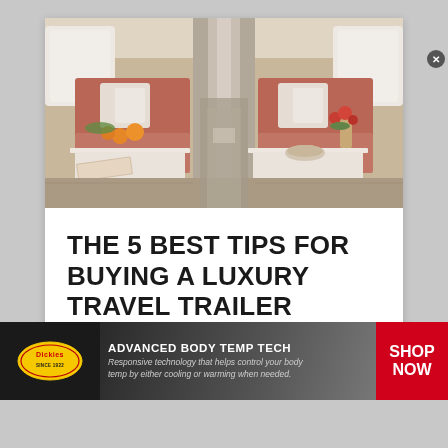[Figure (photo): Interior of a luxury travel trailer showing two booth-style dining areas with terra-cotta upholstered seating, white tables set with food and flowers, silver accents, and a corridor with mirror/chrome finish running between them toward the rear of the trailer, with windows on both sides letting in natural light.]
THE 5 BEST TIPS FOR BUYING A LUXURY TRAVEL TRAILER
[Figure (infographic): Dickies brand advertisement banner. Left: Dickies oval logo on dark background. Center: 'ADVANCED BODY TEMP TECH' headline in bold white uppercase, subtext 'Responsive technology that helps control your body temp by either cooling or warming when needed.' over dark background with person image. Right: Red rectangle with 'SHOP NOW' in bold white uppercase. Close button (x) in top-right corner.]